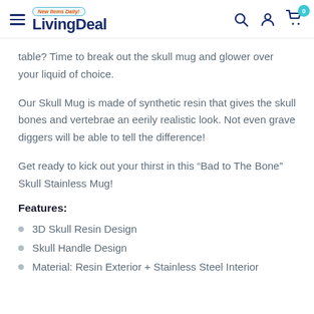LivingDeal - New Items Daily!
table? Time to break out the skull mug and glower over your liquid of choice.
Our Skull Mug is made of synthetic resin that gives the skull bones and vertebrae an eerily realistic look. Not even grave diggers will be able to tell the difference!
Get ready to kick out your thirst in this “Bad to The Bone” Skull Stainless Mug!
Features:
3D Skull Resin Design
Skull Handle Design
Material: Resin Exterior + Stainless Steel Interior